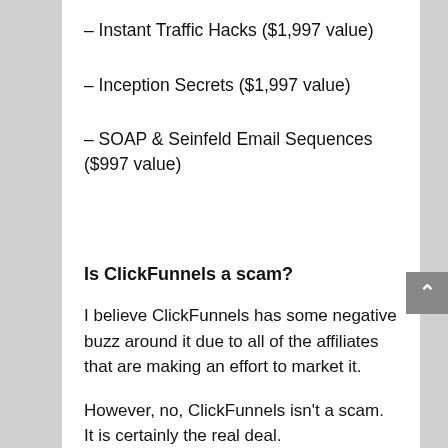– Instant Traffic Hacks ($1,997 value)
– Inception Secrets ($1,997 value)
– SOAP & Seinfeld Email Sequences ($997 value)
Is ClickFunnels a scam?
I believe ClickFunnels has some negative buzz around it due to all of the affiliates that are making an effort to market it.
However, no, ClickFunnels isn't a scam. It is certainly the real deal.
It's a great software with an amazing affiliate